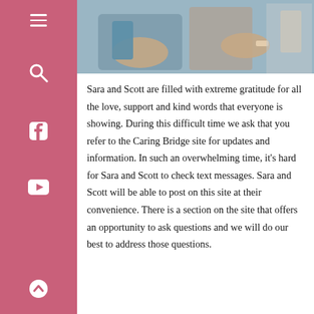[Figure (photo): Photo of two people's hands/laps in a medical or care setting, cropped at the top of the content area.]
Sara and Scott are filled with extreme gratitude for all the love, support and kind words that everyone is showing. During this difficult time we ask that you refer to the Caring Bridge site for updates and information. In such an overwhelming time, it's hard for Sara and Scott to check text messages.  Sara and Scott will be able to post on this site at their convenience.  There is a section on the site that offers an opportunity to ask questions and we will do our best to address those questions.